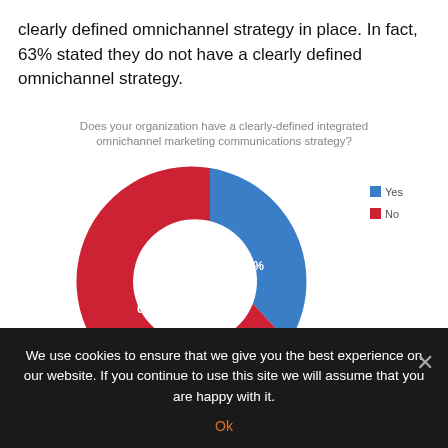clearly defined omnichannel strategy in place. In fact, 63% stated they do not have a clearly defined omnichannel strategy.
[Figure (donut-chart): Does your organization have a clearly-defined integrated omnichannel marketing communications strategy?]
We use cookies to ensure that we give you the best experience on our website. If you continue to use this site we will assume that you are happy with it.